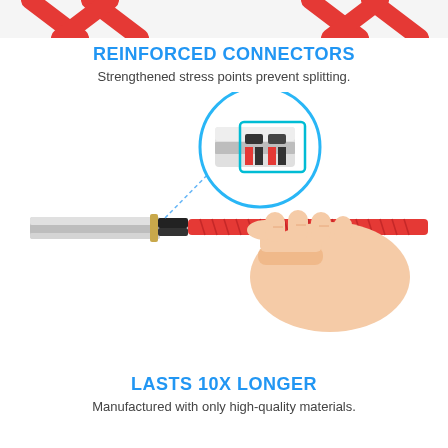[Figure (photo): Top banner showing red braided cables with X pattern against white background]
REINFORCED CONNECTORS
Strengthened stress points prevent splitting.
[Figure (photo): A hand holding a red braided USB cable connector with a magnified circle inset showing the reinforced connector tip detail]
LASTS 10X LONGER
Manufactured with only high-quality materials.